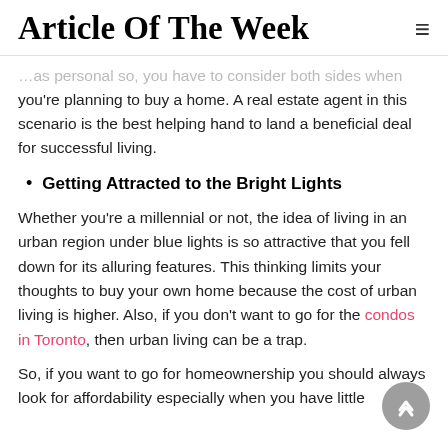Article Of The Week
...as personal so, you have to consider both sides when you're planning to buy a home. A real estate agent in this scenario is the best helping hand to land a beneficial deal for successful living.
Getting Attracted to the Bright Lights
Whether you're a millennial or not, the idea of living in an urban region under blue lights is so attractive that you fell down for its alluring features. This thinking limits your thoughts to buy your own home because the cost of urban living is higher. Also, if you don't want to go for the condos in Toronto, then urban living can be a trap.
So, if you want to go for homeownership you should always look for affordability especially when you have little